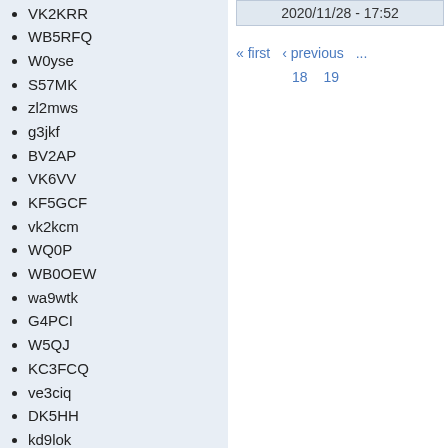VK2KRR
WB5RFQ
W0yse
S57MK
zl2mws
g3jkf
BV2AP
VK6VV
KF5GCF
vk2kcm
WQ0P
WB0OEW
wa9wtk
G4PCI
W5QJ
KC3FCQ
ve3ciq
DK5HH
kd9lok
KC4GO
ve7leq
kf7ilg
DK2DB
n1ho
ve3gtc
G8CRB
2020/11/28 - 17:52
« first  ‹ previous  ...  18  19